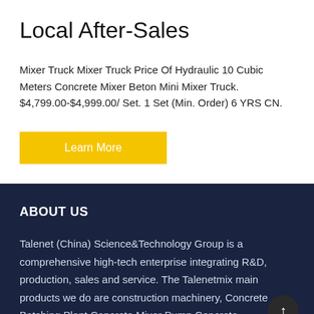Local After-Sales
Mixer Truck Mixer Truck Price Of Hydraulic 10 Cubic Meters Concrete Mixer Beton Mini Mixer Truck. $4,799.00-$4,999.00/ Set. 1 Set (Min. Order) 6 YRS CN.
ABOUT US
Talenet (China) Science&Technology Group is a comprehensive high-tech enterprise integrating R&D, production, sales and service. The Talenetmix main products we do are construction machinery, Concrete Batching Plant,Concrete Mixer Pump,Concrete Pump,Concrete Mixer,Self Loading Concrete Mixer,Concrete